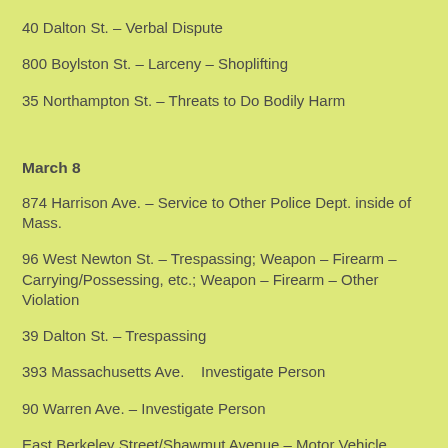40 Dalton St. – Verbal Dispute
800 Boylston St. – Larceny – Shoplifting
35 Northampton St. – Threats to Do Bodily Harm
March 8
874 Harrison Ave. – Service to Other Police Dept. inside of Mass.
96 West Newton St. – Trespassing; Weapon – Firearm – Carrying/Possessing, etc.; Weapon – Firearm – Other Violation
39 Dalton St. – Trespassing
393 Massachusetts Ave.    Investigate Person
90 Warren Ave. – Investigate Person
East Berkeley Street/Shawmut Avenue – Motor Vehicle Accident – Personal Injury; Motor Vehicle Accident involving Pedestrian –